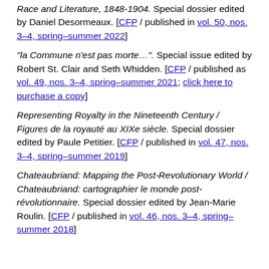Race and Literature, 1848-1904. Special dossier edited by Daniel Desormeaux. [CFP / published in vol. 50, nos. 3–4, spring–summer 2022]
"la Commune n'est pas morte…". Special issue edited by Robert St. Clair and Seth Whidden. [CFP / published as vol. 49, nos. 3–4, spring–summer 2021; click here to purchase a copy]
Representing Royalty in the Nineteenth Century / Figures de la royauté au XIXe siècle. Special dossier edited by Paule Petitier. [CFP / published in vol. 47, nos. 3–4, spring–summer 2019]
Chateaubriand: Mapping the Post-Revolutionary World / Chateaubriand: cartographier le monde post-révolutionnaire. Special dossier edited by Jean-Marie Roulin. [CFP / published in vol. 46, nos. 3–4, spring–summer 2018]